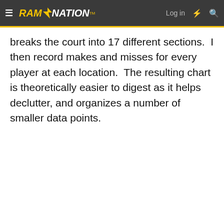RAM NATION — Log in
breaks the court into 17 different sections.  I then record makes and misses for every player at each location.  The resulting chart is theoretically easier to digest as it helps declutter, and organizes a number of smaller data points.